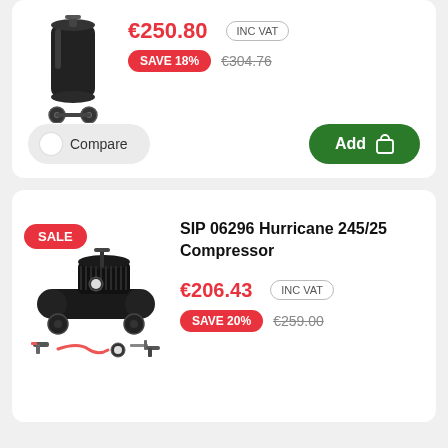[Figure (illustration): Vertical air compressor tank on wheels]
€250.80
INC VAT
SAVE 18%
€304.76
Compare
Add
[Figure (photo): SIP 06296 Hurricane 245/25 Compressor with accessories including spray gun and hose]
SALE
SIP 06296 Hurricane 245/25 Compressor
€206.43
INC VAT
SAVE 20%
€259.00